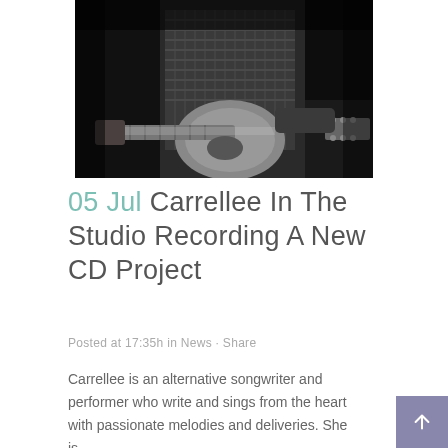[Figure (photo): Black and white photograph of a person playing an electric guitar, wearing a checkered/plaid shirt, shot from torso down, dark background]
05 Jul Carrellee In The Studio Recording A New CD Project
Posted at 17:35h in News · Share
Carrellee is an alternative songwriter and performer who write and sings from the heart with passionate melodies and deliveries. She is